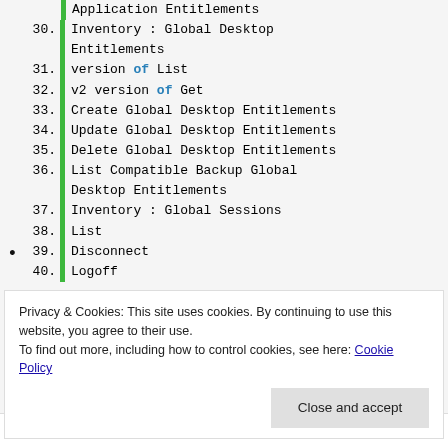Application Entitlements
30. Inventory : Global Desktop Entitlements
31. version of List
32. v2 version of Get
33. Create Global Desktop Entitlements
34. Update Global Desktop Entitlements
35. Delete Global Desktop Entitlements
36. List Compatible Backup Global Desktop Entitlements
37. Inventory : Global Sessions
38. List
39. Disconnect
40. Logoff
Privacy & Cookies: This site uses cookies. By continuing to use this website, you agree to their use. To find out more, including how to control cookies, see here: Cookie Policy
to push a new image to rds farms. I will make sure to